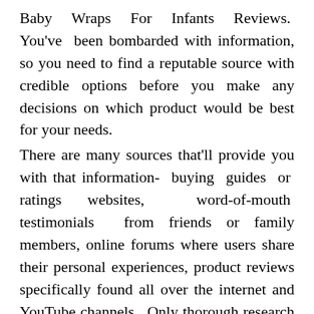Baby Wraps For Infants Reviews. You've been bombarded with information, so you need to find a reputable source with credible options before you make any decisions on which product would be best for your needs. There are many sources that'll provide you with that information- buying guides or ratings websites, word-of-mouth testimonials from friends or family members, online forums where users share their personal experiences, product reviews specifically found all over the internet and YouTube channels. Only thorough research will ensure that you get the right product. But that's not always easy, right? That's why we've taken time to compile a list of the best Baby Wraps For Infants in today's market, on your behalf, so that there will be no more worries for